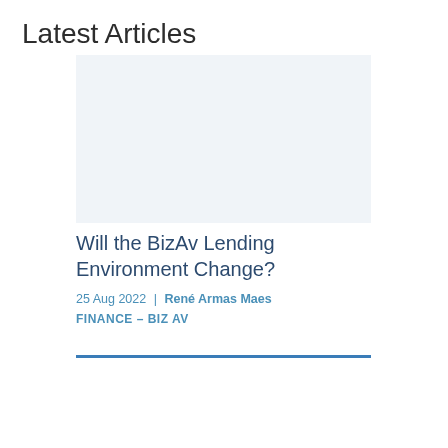Latest Articles
[Figure (photo): Article thumbnail image placeholder]
Will the BizAv Lending Environment Change?
25 Aug 2022  |  René Armas Maes
FINANCE - BIZ AV